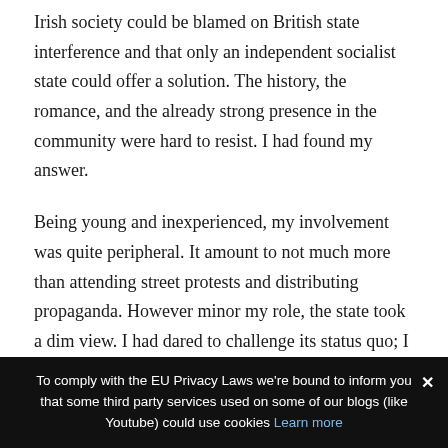Irish society could be blamed on British state interference and that only an independent socialist state could offer a solution. The history, the romance, and the already strong presence in the community were hard to resist. I had found my answer.
Being young and inexperienced, my involvement was quite peripheral. It amount to not much more than attending street protests and distributing propaganda. However minor my role, the state took a dim view. I had dared to challenge its status quo; I was now a legitimate target.
On March 8th 2008 the Continuity Irish Republican A...
To comply with the EU Privacy Laws we're bound to inform you that some third party services used on some of our blogs (like Youtube) could use cookies Learn more